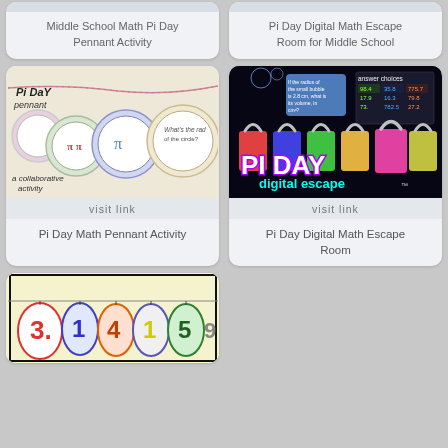[Figure (screenshot): Top partial card - Middle School Math Pi Day Pennant Activity thumbnail cropped at top]
Middle School Math Pi Day Pennant Activity
[Figure (screenshot): Top partial card - Pi Day Digital Math Escape Room for Middle School thumbnail cropped at top]
Pi Day Digital Math Escape Room for Middle School
[Figure (photo): Pi Day Pennant activity photo showing circular pennants with math problems about pi]
visit link
Pi Day Math Pennant Activity
[Figure (photo): Pi Day Digital Math Escape Room screenshot showing colorful padlocks and answer choices grid]
visit link
Pi Day Digital Math Escape Room
[Figure (photo): Bottom partial card showing Pi Day banner with digits 3.1415... in colorful circles on cream background]